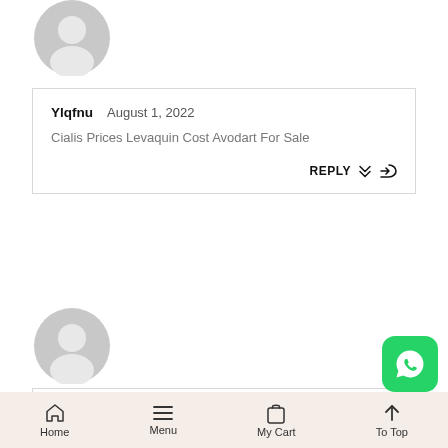[Figure (illustration): Generic user avatar icon (grey silhouette), top of page]
Ylqfnu   August 1, 2022
Cialis Prices Levaquin Cost Avodart For Sale
REPLY
[Figure (illustration): Generic user avatar icon (grey silhouette), second comment]
DavisGroda   August 2, 2022
[Figure (logo): WhatsApp green button icon]
Home   Menu   My Cart   To Top